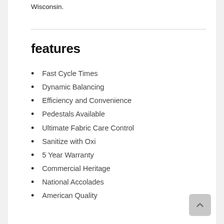Wisconsin.
features
Fast Cycle Times
Dynamic Balancing
Efficiency and Convenience
Pedestals Available
Ultimate Fabric Care Control
Sanitize with Oxi
5 Year Warranty
Commercial Heritage
National Accolades
American Quality